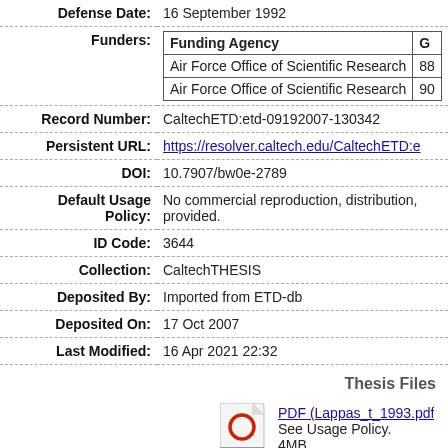| Defense Date: | 16 September 1992 |
| Funders: | [nested table: Funding Agency | Gr...; Air Force Office of Scientific Research | 88...; Air Force Office of Scientific Research | 90...] |
| Record Number: | CaltechETD:etd-09192007-130342 |
| Persistent URL: | https://resolver.caltech.edu/CaltechETD:e... |
| DOI: | 10.7907/bw0e-2789 |
| Default Usage Policy: | No commercial reproduction, distribution, provided. |
| ID Code: | 3644 |
| Collection: | CaltechTHESIS |
| Deposited By: | Imported from ETD-db |
| Deposited On: | 17 Oct 2007 |
| Last Modified: | 16 Apr 2021 22:32 |
Thesis Files
[Figure (other): PDF file icon with red circle O and 'PDF' label]
PDF (Lappas_t_1993.pdf
See Usage Policy.
4MB